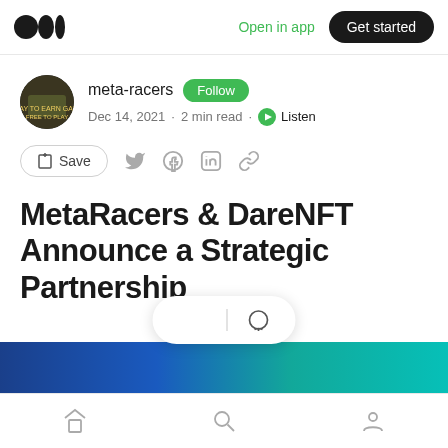Open in app | Get started
meta-racers · Follow
Dec 14, 2021 · 2 min read · Listen
Save
MetaRacers & DareNFT Announce a Strategic Partnership
[Figure (photo): Partial article banner image showing blue and teal colors]
Home | Search | Profile navigation icons